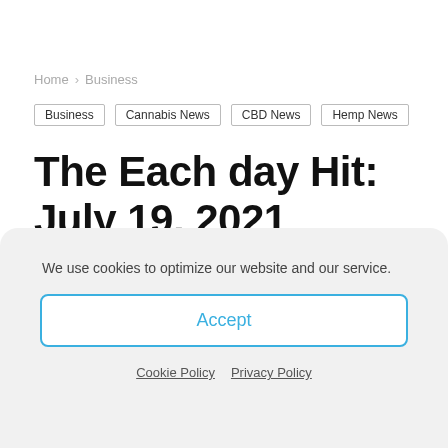Home › Business
Business
Cannabis News
CBD News
Hemp News
The Each day Hit: July 19, 2021
By Andrew Gibbons - July 19, 2021  👁 121  💬 0
We use cookies to optimize our website and our service.
Accept
Cookie Policy  Privacy Policy